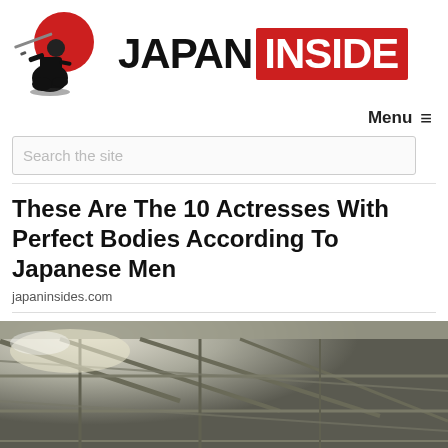[Figure (logo): Japan Inside logo: samurai illustration with red circle background on left, text 'JAPAN INSIDE' with INSIDE in red box on right]
Menu ≡
Search the site
These Are The 10 Actresses With Perfect Bodies According To Japanese Men
japaninsides.com
[Figure (photo): Industrial ceiling with steel beams/trusses visible from below, grayish metallic interior structure]